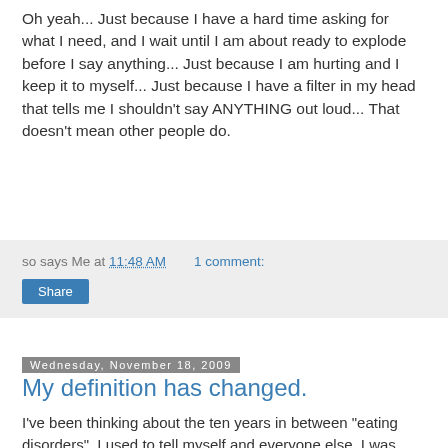Oh yeah... Just because I have a hard time asking for what I need, and I wait until I am about ready to explode before I say anything... Just because I am hurting and I keep it to myself... Just because I have a filter in my head that tells me I shouldn't say ANYTHING out loud... That doesn't mean other people do.
so says Me at 11:48 AM   1 comment:   Share
Wednesday, November 18, 2009
My definition has changed.
I've been thinking about the ten years in between "eating disorders". I used to tell myself and everyone else, I was recovered. I wasn't.
I was in Compliance. I did everything everyone wanted me to, because everyone wanted me to do it. I just stopped